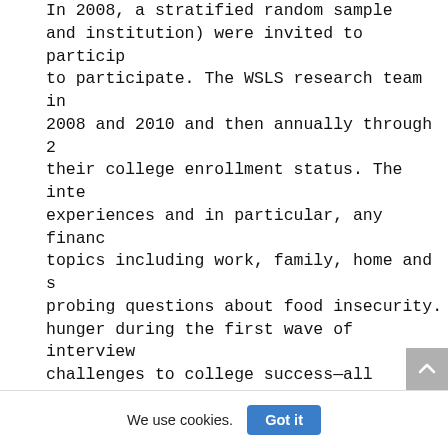In 2008, a stratified random sample and institution) were invited to particip to participate. The WSLS research team in 2008 and 2010 and then annually through 2 their college enrollment status. The inte experiences and in particular, any financ topics including work, family, home and s probing questions about food insecurity. hunger during the first wave of interview challenges to college success—all student interviews. In this paper, we only includ experiences of food insecurity during col backgrounds, food challenges, and coping
    In fall 2009, nearly two-thirds of W survey about their college experiences.2 insecurity experiences based on informati research. The analytic survey sample for the food security questions and for which
We use cookies.
Got it